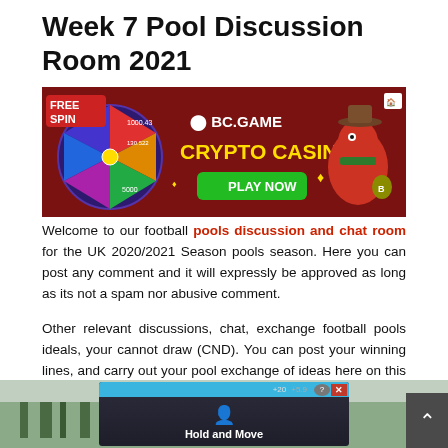Week 7 Pool Discussion Room 2021
[Figure (illustration): BC.GAME Crypto Casino advertisement banner with a spinning wheel showing numbers (1000.43, 130.522, 5000), a cartoon red dinosaur/lizard character wearing a cowboy hat and holding a Bitcoin bag, green 'PLAY NOW' button, and 'FREE SPIN' text on dark red background]
Welcome to our football pools discussion and chat room for the UK 2020/2021 Season pools season. Here you can post any comment and it will expressly be approved as long as its not a spam nor abusive comment.
Other relevant discussions, chat, exchange football pools ideals, your cannot draw (CND). You can post your winning lines, and carry out your pool exchange of ideas here on this forum.
[Figure (screenshot): Bottom advertisement banner showing 'Hold and Move' text with a person/figure icon on dark background, with question mark and close (X) buttons at top right, and blue header bar with '+20' and '+5.9' numbers]